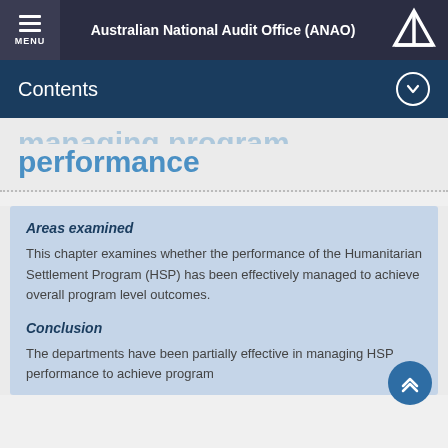Australian National Audit Office (ANAO)
Contents
performance
Areas examined
This chapter examines whether the performance of the Humanitarian Settlement Program (HSP) has been effectively managed to achieve overall program level outcomes.
Conclusion
The departments have been partially effective in managing HSP performance to achieve program